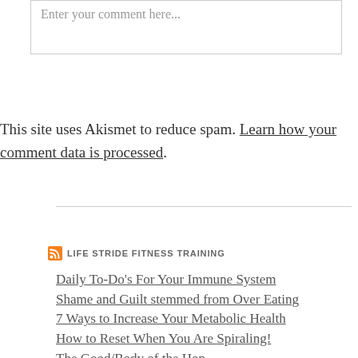Enter your comment here...
This site uses Akismet to reduce spam. Learn how your comment data is processed.
LIFE STRIDE FITNESS TRAINING
Daily To-Do's For Your Immune System
Shame and Guilt stemmed from Over Eating
7 Ways to Increase Your Metabolic Health
How to Reset When You Are Spiraling!
The Good/Bad of the Hop...